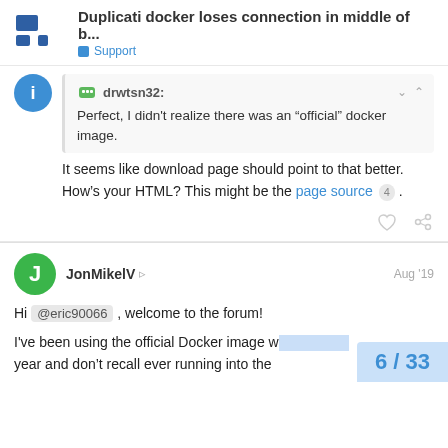Duplicati docker loses connection in middle of b... | Support
drwtsn32: Perfect, I didn't realize there was an “official” docker image.
It seems like download page should point to that better. How’s your HTML? This might be the page source 4 .
JonMikelV | Aug '19
Hi @eric90066 , welcome to the forum!
I've been using the official Docker image w... year and don't recall ever running into the
6 / 33